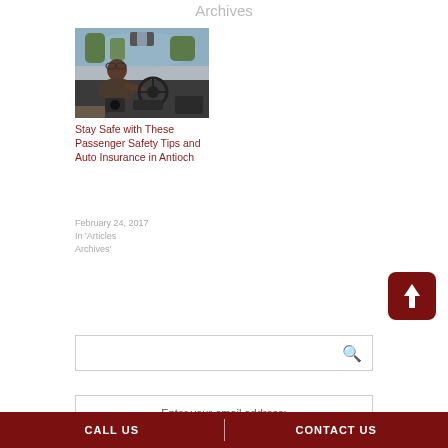Archives
[Figure (photo): Person driving a car, view from back seat showing driver's hands on steering wheel and dashboard]
Stay Safe with These Passenger Safety Tips and Auto Insurance in Antioch
February 24, 2017
In 'Articles Archives'
[Figure (other): Scroll to top button - dark red rounded square with upward arrow]
Search box
Enter your email address:
CALL US   |   CONTACT US